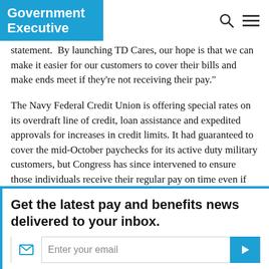Government Executive
statement.  By launching TD Cares, our hope is that we can make it easier for our customers to cover their bills and make ends meet if they're not receiving their pay."
The Navy Federal Credit Union is offering special rates on its overdraft line of credit, loan assistance and expedited approvals for increases in credit limits. It had guaranteed to cover the mid-October paychecks for its active duty military customers, but Congress has since intervened to ensure those individuals receive their regular pay on time even if the shutdown continues.
Get the latest pay and benefits news delivered to your inbox.
Enter your email